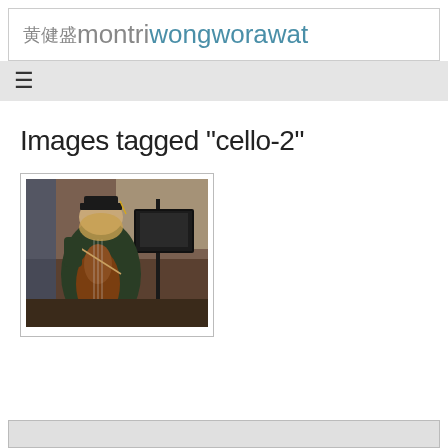黄健盛montriwongworawat
Images tagged "cello-2"
[Figure (photo): A musician playing cello, wearing a dark graduation cap and green clothing, with a music stand in front, performing indoors.]
[Figure (photo): Partial view of another image at the bottom of the page, cropped off.]